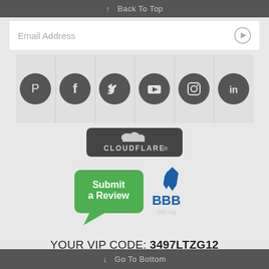↑ Back To Top
Email Address
[Figure (illustration): Six social media icons in circles: Pinterest, Facebook, Twitter, YouTube, Instagram, LinkedIn]
[Figure (logo): Cloudflare badge logo on dark rounded rectangle background]
[Figure (illustration): Submit a Review speech bubble badge with BBB (Better Business Bureau) logo]
YOUR VIP CODE: 3497LTZG12
Lighting New York © 2009 – 2022. All rights reserved.
↓ Go To Bottom